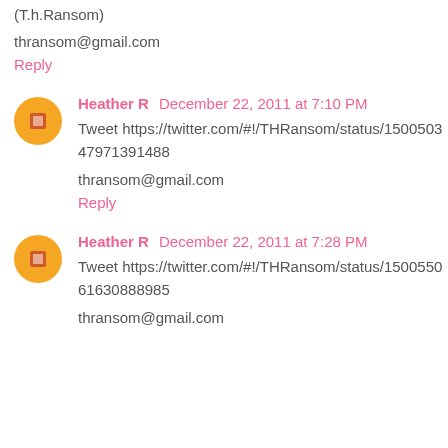(T.h.Ransom)
thransom@gmail.com
Reply
Heather R  December 22, 2011 at 7:10 PM
Tweet https://twitter.com/#!/THRansom/status/150050347971391488
thransom@gmail.com
Reply
Heather R  December 22, 2011 at 7:28 PM
Tweet https://twitter.com/#!/THRansom/status/150055061630888985
thransom@gmail.com